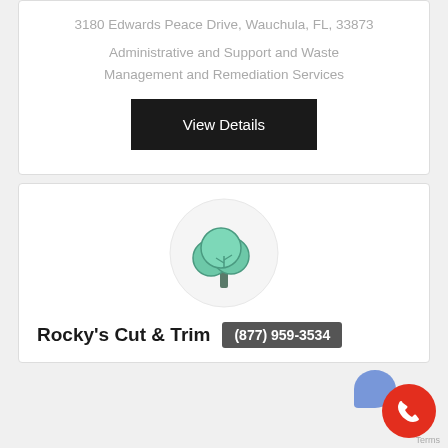3180 Edwards Peace Drive, Wauchula, FL, 33873
Administrative and Support and Waste Management and Remediation Services
View Details
[Figure (illustration): Tree icon inside a light gray circle, representing a landscaping/tree service company logo placeholder]
Rocky's Cut & Trim
(877) 959-3534